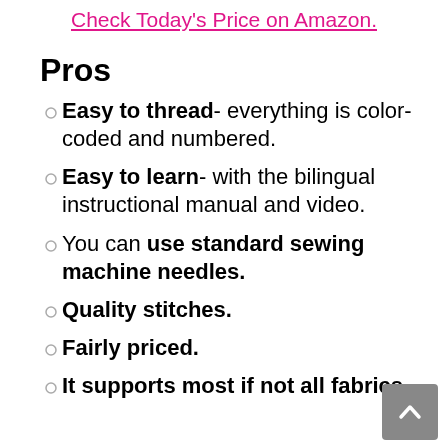Check Today's Price on Amazon.
Pros
Easy to thread- everything is color-coded and numbered.
Easy to learn- with the bilingual instructional manual and video.
You can use standard sewing machine needles.
Quality stitches.
Fairly priced.
It supports most if not all fabrics.